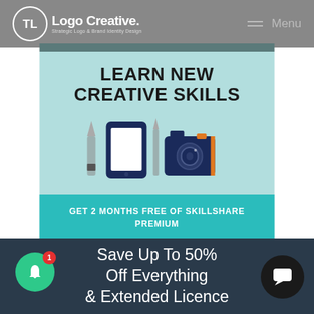Logo Creative. Strategic Logo & Brand Identity Design | Menu
[Figure (screenshot): Skillshare advertisement banner: 'LEARN NEW CREATIVE SKILLS' with icons of a paintbrush, tablet, pen, and camera, plus a teal call-to-action bar reading 'GET 2 MONTHS FREE OF SKILLSHARE PREMIUM' and 'SKILLSHARE' at the bottom.]
Save Up To 50% Off Everything & Extended Licence